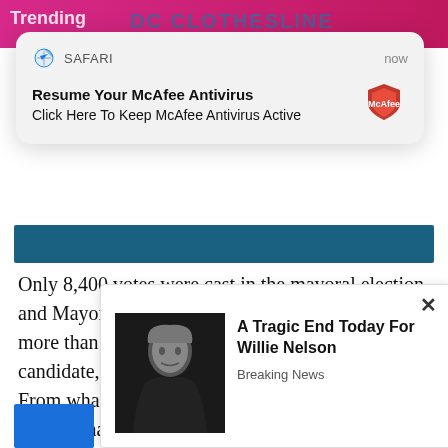[Figure (screenshot): Safari browser notification popup: 'Resume Your McAfee Antivirus / Click Here To Keep McAfee Antivirus Active' with McAfee logo icon, timestamped 'now']
Only 8,400 votes were cast in the mayoral election, and Mayor Richard Molina’s final vote count was more than 1,200 votes ahead of the No. 2 candidate, 14-year incumbent Richard Garcia. From what’s known now, the election result couldn’t have been changed by the number of suspicious votes identified.
[Figure (screenshot): Advertisement popup with photo of Willie Nelson and text: 'A Tragic End Today For Willie Nelson / Breaking News', with close (x) button]